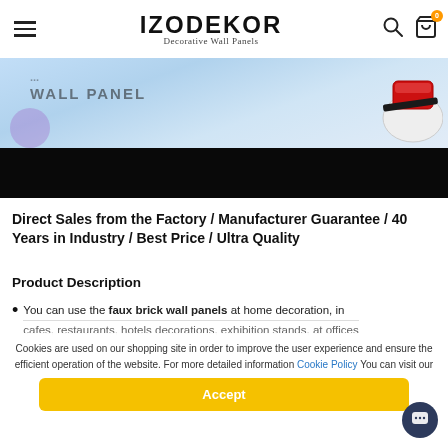IZODEKOR Decorative Wall Panels
[Figure (screenshot): Website banner image showing decorative wall panel branding with light blue background, bold text 'WALL PANEL' and a red object on the right, below which is a solid black bar]
Direct Sales from the Factory / Manufacturer Guarantee / 40 Years in Industry / Best Price / Ultra Quality
Product Description
You can use the faux brick wall panels at home decoration, in cafes, restaurants, hotels decorations, exhibition stands, at offices...
Cookies are used on our shopping site in order to improve the user experience and ensure the efficient operation of the website. For more detailed information Cookie Policy You can visit our
Accept